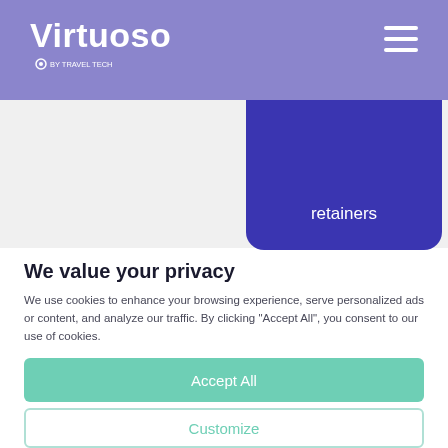Virtuoso
retainers
We value your privacy
We use cookies to enhance your browsing experience, serve personalized ads or content, and analyze our traffic. By clicking "Accept All", you consent to our use of cookies.
Accept All
Customize
Reject All